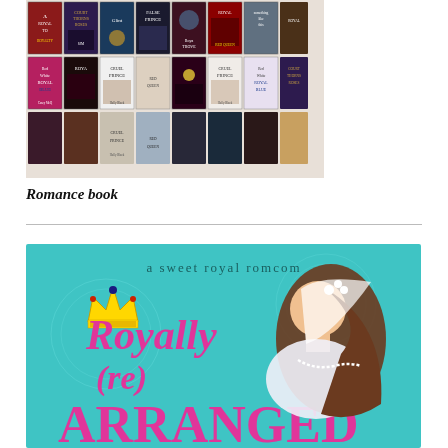[Figure (photo): A collage of romance and fantasy book covers arranged in two rows, featuring titles such as Red Queen, Cruel Prince, Court of Thorns and Roses, Royal Blues, False Prince, and others.]
Romance book
[Figure (illustration): Book cover for 'Royally (Re)Arranged' described as 'a sweet royal romcom', featuring illustrated text with a crown graphic and a woman with long brown hair wearing a veil and pearl necklace. The background is teal/turquoise with decorative patterns.]